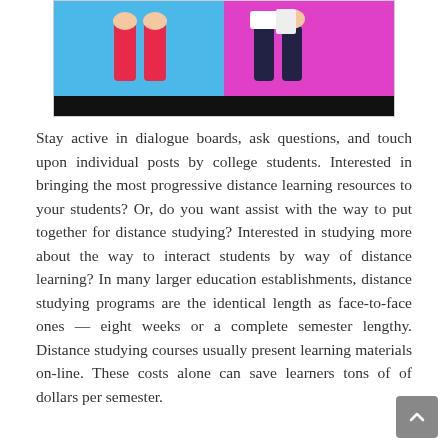[Figure (illustration): Colorful illustration showing two figures at a desk or podium, with a blue and magenta background and a black bar at the bottom. The figures appear to be holding or presenting something.]
Stay active in dialogue boards, ask questions, and touch upon individual posts by college students. Interested in bringing the most progressive distance learning resources to your students? Or, do you want assist with the way to put together for distance studying? Interested in studying more about the way to interact students by way of distance learning? In many larger education establishments, distance studying programs are the identical length as face-to-face ones — eight weeks or a complete semester lengthy. Distance studying courses usually present learning materials on-line. These costs alone can save learners tons of of dollars per semester.